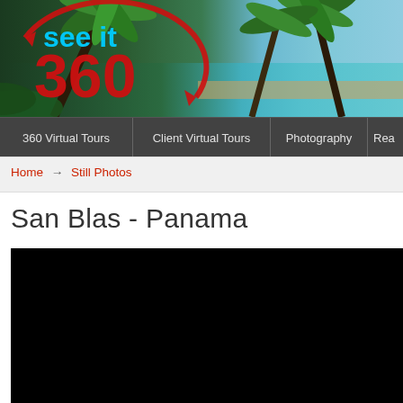[Figure (photo): See It 360 website header banner showing tropical beach scene with palm trees and turquoise water. Logo overlaid showing 'see it' in cyan text and '360' in large red text with circular arrow graphic.]
360 Virtual Tours | Client Virtual Tours | Photography | Rea...
Home → Still Photos
San Blas - Panama
[Figure (photo): Large black rectangle (video player or image gallery, content not visible)]